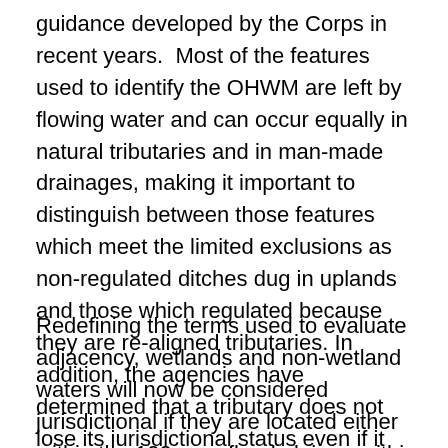guidance developed by the Corps in recent years. Most of the features used to identify the OHWM are left by flowing water and can occur equally in natural tributaries and in man-made drainages, making it important to distinguish between those features which meet the limited exclusions as non-regulated ditches dug in uplands and those which regulated because they are re-aligned tributaries. In addition, the agencies have determined that a tributary does not lose its jurisdictional status even if it flows underground or through culverts, concrete channels, or pipes for any distance before being discharged to another tributary.
Redefining the terms used to evaluate adjacency, wetlands and non-wetland waters will now be considered jurisdictional if they are located either within the 100-year flood plain or within 1,500 feet of a tributary or tidal water whichever is smaller. This “brightline” is larger than what